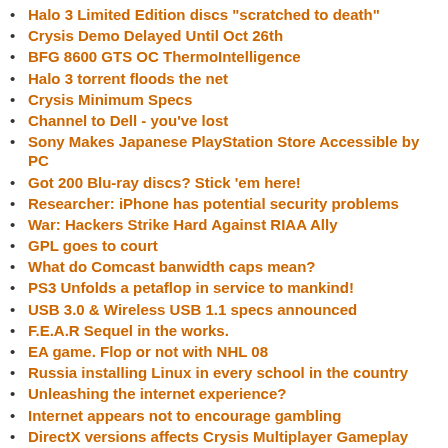Halo 3 Limited Edition discs "scratched to death"
Crysis Demo Delayed Until Oct 26th
BFG 8600 GTS OC ThermoIntelligence
Halo 3 torrent floods the net
Crysis Minimum Specs
Channel to Dell - you've lost
Sony Makes Japanese PlayStation Store Accessible by PC
Got 200 Blu-ray discs? Stick 'em here!
Researcher: iPhone has potential security problems
War: Hackers Strike Hard Against RIAA Ally
GPL goes to court
What do Comcast banwidth caps mean?
PS3 Unfolds a petaflop in service to mankind!
USB 3.0 & Wireless USB 1.1 specs announced
F.E.A.R Sequel in the works.
EA game. Flop or not with NHL 08
Russia installing Linux in every school in the country
Unleashing the internet experience?
Internet appears not to encourage gambling
DirectX versions affects Crysis Multiplayer Gameplay
IBM Lotus Symphony to be free
When they are THIS interested in US....
New Attacks Target Top Executives
His Jobsness Announces A Crackdown On IPhone Unlocking
Microsoft resumes bashing open source
Asus Blitz Extreme & Formula